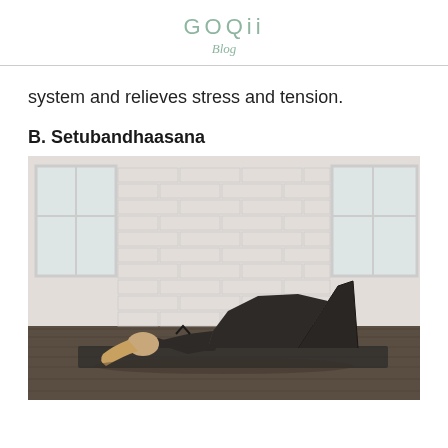GOQii
Blog
system and relieves stress and tension.
B. Setubandhaasana
[Figure (photo): A woman performing the Bridge Pose (Setubandhaasana) yoga posture on a dark yoga mat in a bright studio with white brick walls and large windows. She is lying on her back with her hips lifted, wearing dark athletic wear.]